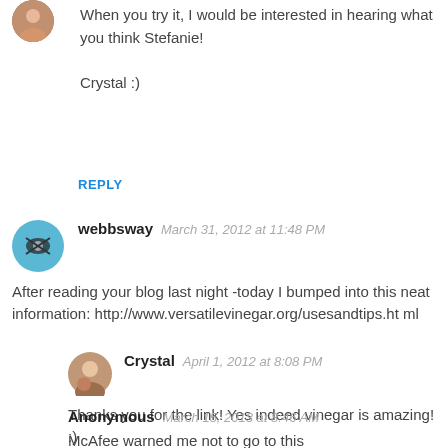When you try it, I would be interested in hearing what you think Stefanie!

Crystal :)
REPLY
webbsway  March 31, 2012 at 11:48 PM
After reading your blog last night -today I bumped into this neat information: http://www.versatilevinegar.org/usesandtips.html
Crystal  April 1, 2012 at 8:08 PM
Thanks you for the link! Yes indeed vinegar is amazing! :)
Anonymous  March 15, 2013 at 8:46 AM
McAfee warned me not to go to this